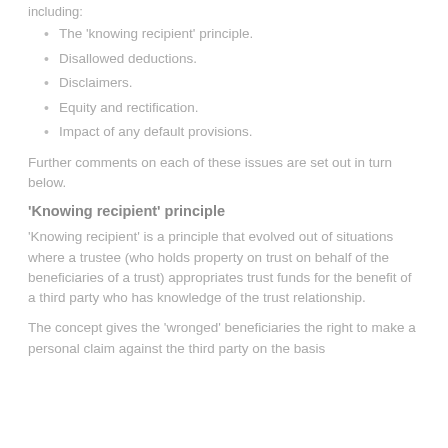including:
The 'knowing recipient' principle.
Disallowed deductions.
Disclaimers.
Equity and rectification.
Impact of any default provisions.
Further comments on each of these issues are set out in turn below.
'Knowing recipient' principle
'Knowing recipient' is a principle that evolved out of situations where a trustee (who holds property on trust on behalf of the beneficiaries of a trust) appropriates trust funds for the benefit of a third party who has knowledge of the trust relationship.
The concept gives the 'wronged' beneficiaries the right to make a personal claim against the third party on the basis